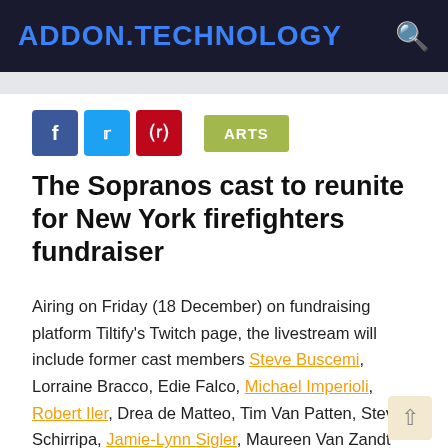ADDON.TECHNOLOGY
[Figure (logo): ADDON.TECHNOLOGY logo with blue bold text on dark navy background, orange search icon top right]
ARTS
The Sopranos cast to reunite for New York firefighters fundraiser
Airing on Friday (18 December) on fundraising platform Tiltify's Twitch page, the livestream will include former cast members Steve Buscemi, Lorraine Bracco, Edie Falco, Michael Imperioli, Robert Iler, Drea de Matteo, Tim Van Patten, Steve Schirripa, Jamie-Lynn Sigler, Maureen Van Zandt and Steven Van Zandt.